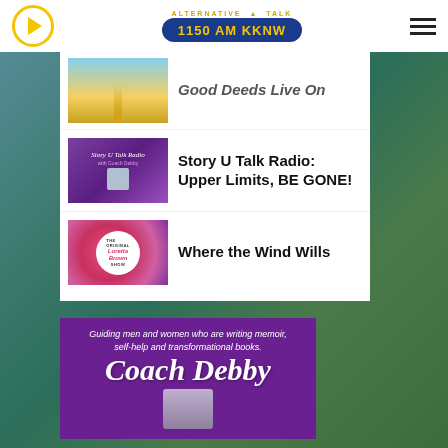Alternative Talk 1150 AM KKNW
[Figure (screenshot): Truncated list item with road/sunset thumbnail and partial title 'Good Deeds Live On']
[Figure (screenshot): Story U Talk Radio thumbnail — purple show logo with host image]
Story U Talk Radio: Upper Limits, BE GONE!
[Figure (screenshot): The Original Loretta Brown Show thumbnail — colorful circular logo]
Where the Wind Wills
[Figure (illustration): Purple Coach Debby promotional banner: 'Guiding men and women who are writing memoir, self-help and transformational books. Coach Debby']